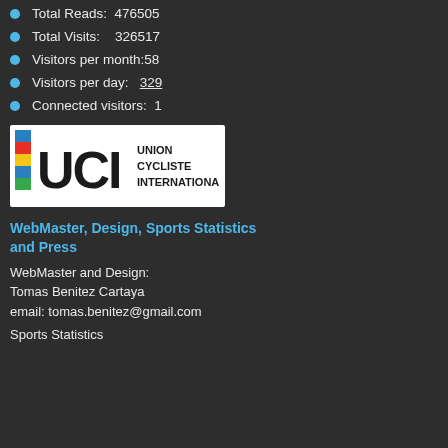Total Reads:  476505
Total Visits:    326517
Visitors per month:58
Visitors per day:   329
Connected visitors:  1
[Figure (logo): UCI Union Cycliste Internationale logo — colored stripes with bold UCI letters and text UNION CYCLISTE INTERNATIONALE]
WebMaster, Design, Sports Statistics and Press
WebMaster and Design:
Tomas Benitez Cartaya
email: tomas.benitez@gmail.com
Sports Statistics